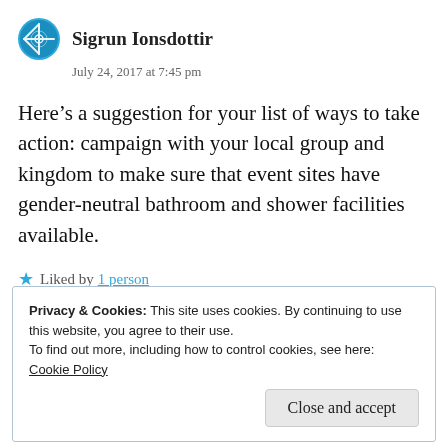Sigrun Ionsdottir
July 24, 2017 at 7:45 pm
Here’s a suggestion for your list of ways to take action: campaign with your local group and kingdom to make sure that event sites have gender-neutral bathroom and shower facilities available.
Liked by 1 person
Privacy & Cookies: This site uses cookies. By continuing to use this website, you agree to their use.
To find out more, including how to control cookies, see here: Cookie Policy